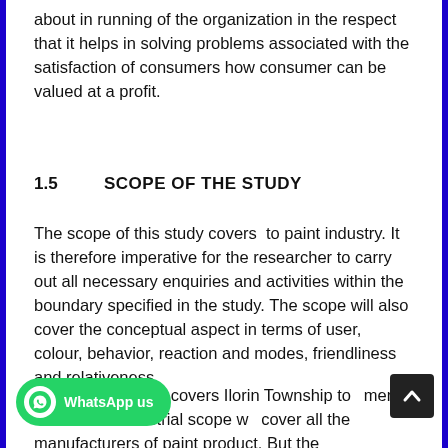about in running of the organization in the respect that it helps in solving problems associated with the satisfaction of consumers how consumer can be valued at a profit.
1.5	SCOPE OF THE STUDY
The scope of this study covers  to paint industry. It is therefore imperative for the researcher to carry out all necessary enquiries and activities within the boundary specified in the study. The scope will also cover the conceptual aspect in terms of user, colour, behavior, reaction and modes, friendliness and relativeness.
The market scope covers Ilorin Township to consumer areas. The industrial scope will cover all the manufacturers of paint product. But the